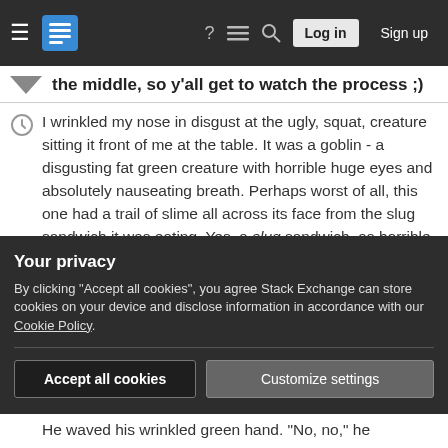Stack Exchange navigation bar with hamburger menu, logo, help, chat, search icons, Log in and Sign up buttons
the middle, so y'all get to watch the process ;)
I wrinkled my nose in disgust at the ugly, squat, creature sitting it front of me at the table. It was a goblin - a disgusting fat green creature with horrible huge eyes and absolutely nauseating breath. Perhaps worst of all, this one had a trail of slime all across its face from the slug sandwich it was eating. Yes, a slug sandwich, as horrible as it sounds.

Those huge eyes slowly blinked. "My eyes are dry,"
Your privacy
By clicking "Accept all cookies", you agree Stack Exchange can store cookies on your device and disclose information in accordance with our Cookie Policy.
Accept all cookies   Customize settings
He waved his wrinkled green hand. "No, no," he